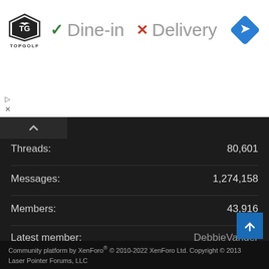[Figure (infographic): Topgolf advertisement banner showing logo, green checkmark with 'Dine-in', red X with 'Delivery', and blue diamond navigation icon]
Threads: 80,601
Messages: 1,274,158
Members: 43,916
Latest member: DebbieVander
Share this page
[Figure (infographic): Social sharing icons: Facebook, Twitter, Reddit, Pinterest, Tumblr, WhatsApp, Email, Link]
Community platform by XenForo® © 2010-2022 XenForo Ltd. Copyright © 2013 Laser Pointer Forums, LLC